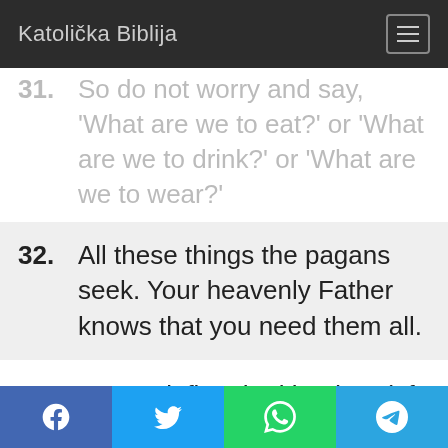Katolička Biblija
31. So do not worry and say, 'What are we to eat?' or 'What are we to drink?' or 'What are we to wear?'
32. All these things the pagans seek. Your heavenly Father knows that you need them all.
33. But seek first the kingdom (of God) and his righteousness, and all these things will be given you besides.
34. Do not worry about tomorrow;
Share buttons: Facebook, Twitter, WhatsApp, Telegram